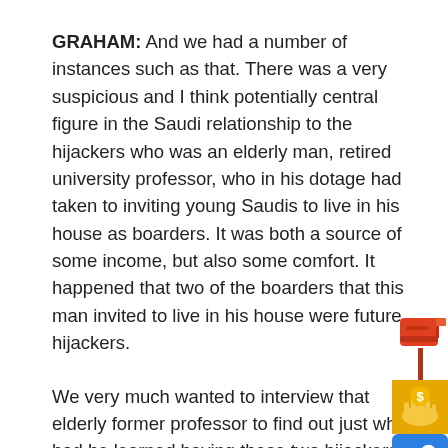GRAHAM: And we had a number of instances such as that. There was a very suspicious and I think potentially central figure in the Saudi relationship to the hijackers who was an elderly man, retired university professor, who in his dotage had taken to inviting young Saudis to live in his house as boarders. It was both a source of some income, but also some comfort. It happened that two of the boarders that this man invited to live in his house were future hijackers.
We very much wanted to interview that elderly former professor to find out just what had he learned having these two hijackers living literally under his roof. We were denied access. Here's–the joint
[Figure (infographic): Social sharing icons bar on the right side: red mailbox icon, yellow/gold money hand icon, blue chain link icon, blue envelope icon, red Gmail icon, blue Facebook icon]